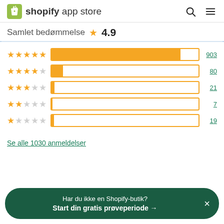shopify app store
Samlet bedømmelse ★ 4.9
[Figure (bar-chart): Rating distribution]
Se alle 1030 anmeldelser
Har du ikke en Shopify-butik? Start din gratis prøveperiode →